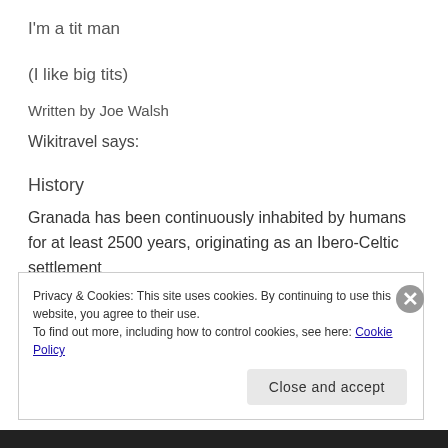I'm a tit man
(I like big tits)
Written by Joe Walsh
Wikitravel says:
History
Granada has been continuously inhabited by humans for at least 2500 years, originating as an Ibero-Celtic settlement
Privacy & Cookies: This site uses cookies. By continuing to use this website, you agree to their use.
To find out more, including how to control cookies, see here: Cookie Policy
Close and accept